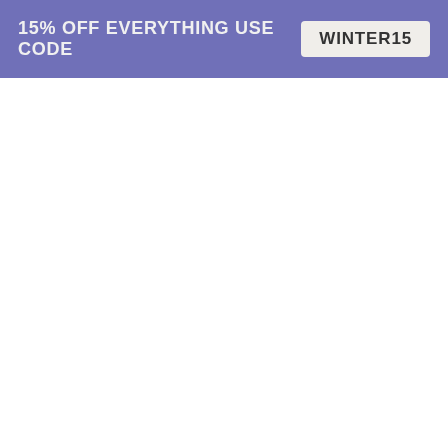15% OFF EVERYTHING USE CODE WINTER15